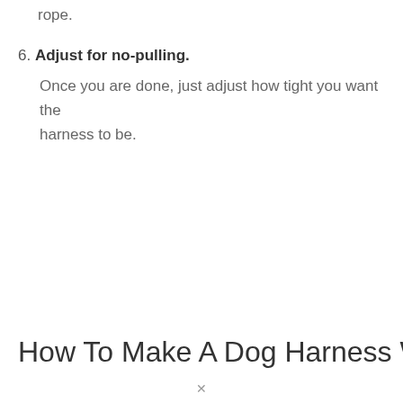rope.
6. Adjust for no-pulling. Once you are done, just adjust how tight you want the harness to be.
How To Make A Dog Harness With A